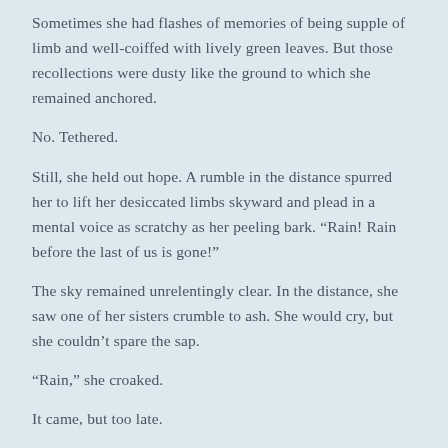Sometimes she had flashes of memories of being supple of limb and well-coiffed with lively green leaves. But those recollections were dusty like the ground to which she remained anchored.
No. Tethered.
Still, she held out hope. A rumble in the distance spurred her to lift her desiccated limbs skyward and plead in a mental voice as scratchy as her peeling bark. “Rain! Rain before the last of us is gone!”
The sky remained unrelentingly clear. In the distance, she saw one of her sisters crumble to ash. She would cry, but she couldn’t spare the sap.
“Rain,” she croaked.
It came, but too late.